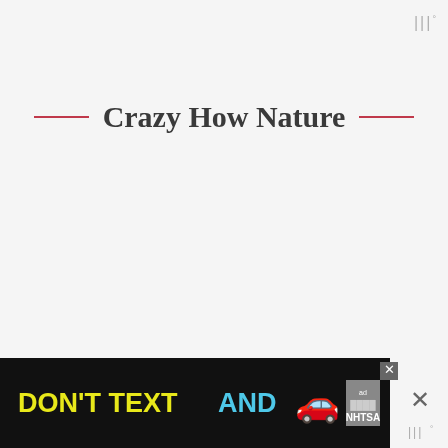|||°
— Crazy How Nature —
[Figure (screenshot): Advertisement banner: DON'T TEXT AND [car emoji] with NHTSA logo and ad badge, close button visible]
× |||°